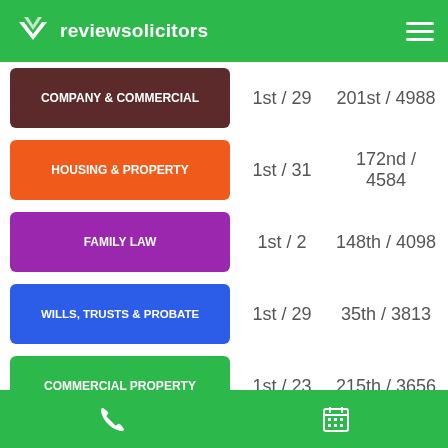reviewsolicitors
| Category | Local Rank | National Rank |
| --- | --- | --- |
| COMPANY & COMMERCIAL | 1st / 29 | 201st / 4988 |
| HOUSING & PROPERTY | 1st / 31 | 172nd / 4584 |
| FAMILY LAW | 1st / 2 | 148th / 4098 |
| WILLS, TRUSTS & PROBATE | 1st / 29 | 35th / 3813 |
| COMMERCIAL PROPERTY | 1st / 23 | 215th / 3656 |
Show more
Data shown above is based on the reviews and client feedback collected by ReviewSolicitors over the last 12 months.